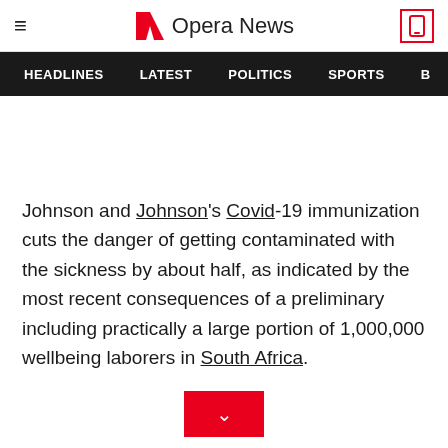Opera News
HEADLINES  LATEST  POLITICS  SPORTS  B
Johnson and Johnson's Covid-19 immunization cuts the danger of getting contaminated with the sickness by about half, as indicated by the most recent consequences of a preliminary including practically a large portion of 1,000,000 wellbeing laborers in South Africa.